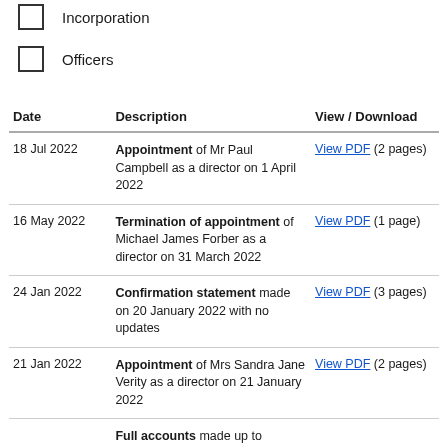Incorporation
Officers
| Date | Description | View / Download |
| --- | --- | --- |
| 18 Jul 2022 | Appointment of Mr Paul Campbell as a director on 1 April 2022 | View PDF (2 pages) |
| 16 May 2022 | Termination of appointment of Michael James Forber as a director on 31 March 2022 | View PDF (1 page) |
| 24 Jan 2022 | Confirmation statement made on 20 January 2022 with no updates | View PDF (3 pages) |
| 21 Jan 2022 | Appointment of Mrs Sandra Jane Verity as a director on 21 January 2022 | View PDF (2 pages) |
|  | Full accounts made up to |  |